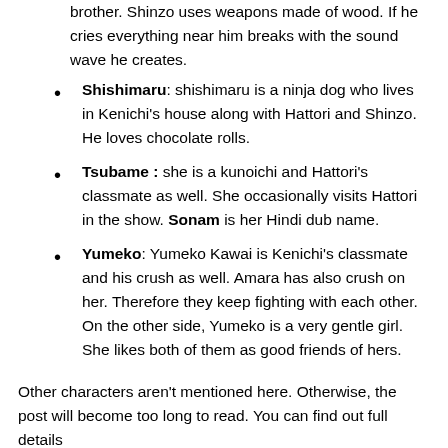brother. Shinzo uses weapons made of wood. If he cries everything near him breaks with the sound wave he creates.
Shishimaru: shishimaru is a ninja dog who lives in Kenichi's house along with Hattori and Shinzo. He loves chocolate rolls.
Tsubame : she is a kunoichi and Hattori's classmate as well. She occasionally visits Hattori in the show. Sonam is her Hindi dub name.
Yumeko: Yumeko Kawai is Kenichi's classmate and his crush as well. Amara has also crush on her. Therefore they keep fighting with each other. On the other side, Yumeko is a very gentle girl. She likes both of them as good friends of hers.
Other characters aren't mentioned here. Otherwise, the post will become too long to read. You can find out full details